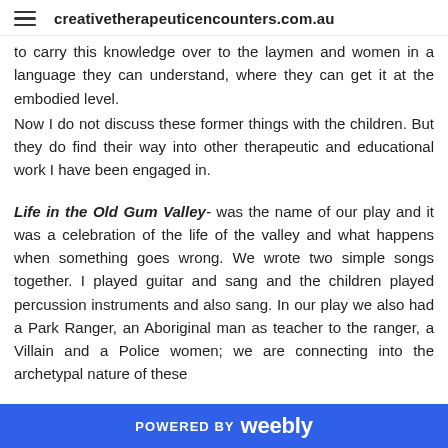creativetherapeuticencounters.com.au
to carry this knowledge over to the laymen and women in a language they can understand, where they can get it at the embodied level.
Now I do not discuss these former things with the children. But they do find their way into other therapeutic and educational work I have been engaged in.
Life in the Old Gum Valley- was the name of our play and it was a celebration of the life of the valley and what happens when something goes wrong. We wrote two simple songs together. I played guitar and sang and the children played percussion instruments and also sang. In our play we also had a Park Ranger, an Aboriginal man as teacher to the ranger, a Villain and a Police women; we are connecting into the archetypal nature of these
POWERED BY weebly